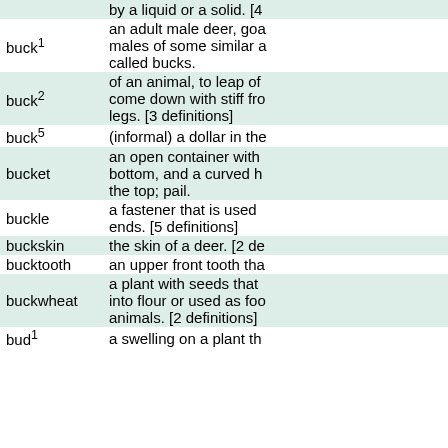| Word | Definition |
| --- | --- |
|  | by a liquid or a solid. [4... |
| buck¹ | an adult male deer, goa... males of some similar a... called bucks. |
| buck² | of an animal, to leap of... come down with stiff fro... legs. [3 definitions] |
| buck⁵ | (informal) a dollar in the... |
| bucket | an open container with... bottom, and a curved h... the top; pail. |
| buckle | a fastener that is used... ends. [5 definitions] |
| buckskin | the skin of a deer. [2 de... |
| bucktooth | an upper front tooth tha... |
| buckwheat | a plant with seeds that... into flour or used as foo... animals. [2 definitions] |
| bud¹ | a swelling on a plant th... |